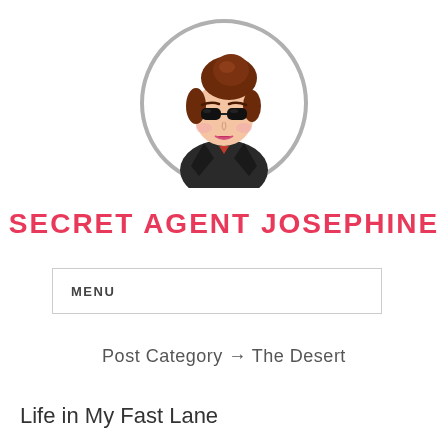[Figure (illustration): Cartoon illustration of a woman with brown hair in a bun, wearing dark sunglasses and a black jacket, inside a gray circle border. Blog avatar for Secret Agent Josephine.]
SECRET AGENT JOSEPHINE
MENU
Post Category → The Desert
Life in My Fast Lane